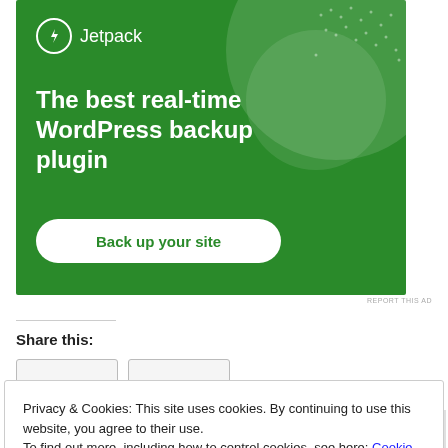[Figure (screenshot): Jetpack advertisement banner with green background. Shows Jetpack logo (lightning bolt in circle) and text reading 'The best real-time WordPress backup plugin' with a white 'Back up your site' button.]
REPORT THIS AD
Share this:
Privacy & Cookies: This site uses cookies. By continuing to use this website, you agree to their use.
To find out more, including how to control cookies, see here: Cookie Policy